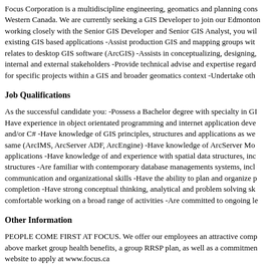Focus Corporation is a multidiscipline engineering, geomatics and planning cons... Western Canada. We are currently seeking a GIS Developer to join our Edmonton... working closely with the Senior GIS Developer and Senior GIS Analyst, you wil... existing GIS based applications -Assist production GIS and mapping groups wit... relates to desktop GIS software (ArcGIS) -Assists in conceptualizing, designing,... internal and external stakeholders -Provide technical advise and expertise regard... for specific projects within a GIS and broader geomatics context -Undertake oth...
Job Qualifications
As the successful candidate you: -Possess a Bachelor degree with specialty in GI... Have experience in object orientated programming and internet application deve... and/or C# -Have knowledge of GIS principles, structures and applications as we... same (ArcIMS, ArcServer ADF, ArcEngine) -Have knowledge of ArcServer Mo... applications -Have knowledge of and experience with spatial data structures, inc... structures -Are familiar with contemporary database managements systems, incl... communication and organizational skills -Have the ability to plan and organize p... completion -Have strong conceptual thinking, analytical and problem solving sk... comfortable working on a broad range of activities -Are committed to ongoing le...
Other Information
PEOPLE COME FIRST AT FOCUS. We offer our employees an attractive comp... above market group health benefits, a group RRSP plan, as well as a commitmen... website to apply at www.focus.ca
Focus Corporation
1000, 9925 - 109 Street